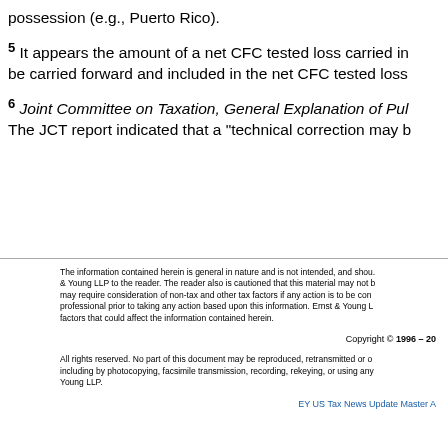5 It appears the amount of a net CFC tested loss carried in... be carried forward and included in the net CFC tested loss...
6 Joint Committee on Taxation, General Explanation of Pu... The JCT report indicated that a "technical correction may b...
The information contained herein is general in nature and is not intended, and shou... & Young LLP to the reader. The reader also is cautioned that this material may not b... may require consideration of non-tax and other tax factors if any action is to be con... professional prior to taking any action based upon this information. Ernst & Young L... factors that could affect the information contained herein.
Copyright © 1996 – 20...
All rights reserved. No part of this document may be reproduced, retransmitted or o... including by photocopying, facsimile transmission, recording, rekeying, or using any... Young LLP.
EY US Tax News Update Master A...